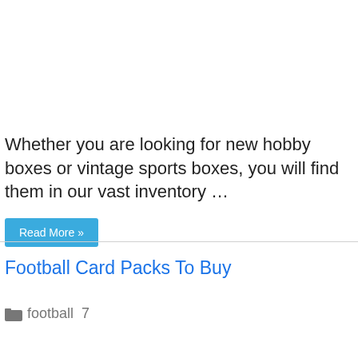Whether you are looking for new hobby boxes or vintage sports boxes, you will find them in our vast inventory …
Read More »
Football Card Packs To Buy
football  7